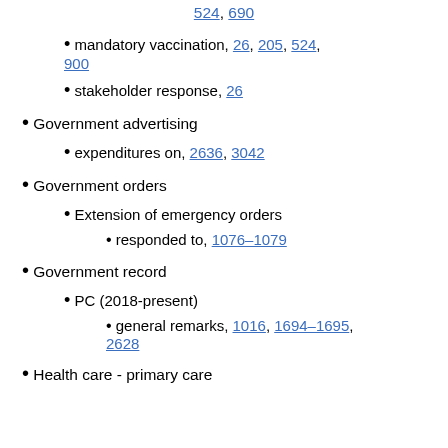524, 690
mandatory vaccination, 26, 205, 524, 900
stakeholder response, 26
Government advertising
expenditures on, 2636, 3042
Government orders
Extension of emergency orders
responded to, 1076–1079
Government record
PC (2018-present)
general remarks, 1016, 1694–1695, 2628
Health care - primary care